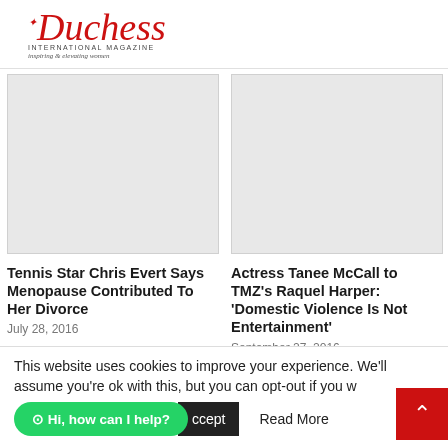[Figure (logo): Duchess International Magazine logo in red cursive script with crown, subtitle text 'INTERNATIONAL MAGAZINE' and 'inspiring & elevating women']
[Figure (photo): Placeholder grey image for Tennis Star Chris Evert article]
[Figure (photo): Placeholder grey image for Actress Tanee McCall article]
Tennis Star Chris Evert Says Menopause Contributed To Her Divorce
July 28, 2016
Actress Tanee McCall to TMZ's Raquel Harper: 'Domestic Violence Is Not Entertainment'
September 27, 2016
This website uses cookies to improve your experience. We'll assume you're ok with this, but you can opt-out if you w
⊙ Hi, how can I help?
Accept
Read More